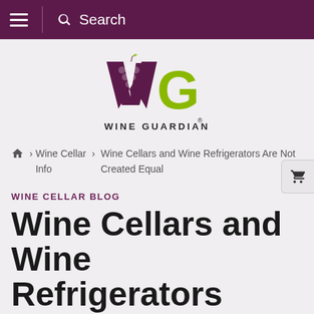≡ 🔍 Search
[Figure (logo): Wine Guardian logo — stylized W with grape cluster in purple and G in lime green, with text WINE GUARDIAN below]
🏠 › Wine Cellar Info › Wine Cellars and Wine Refrigerators Are Not Created Equal
WINE CELLAR BLOG
Wine Cellars and Wine Refrigerators Are Not Created